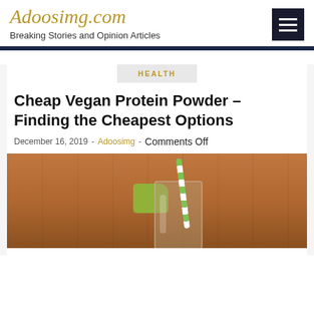Adoosimg.com — Breaking Stories and Opinion Articles
HEALTH
Cheap Vegan Protein Powder – Finding the Cheapest Options
December 16, 2019 - Adoosimg - Comments Off
[Figure (photo): A glass with a dark green smoothie drink, green apple slices, and a green-and-white striped straw, sitting on a wooden table surface.]